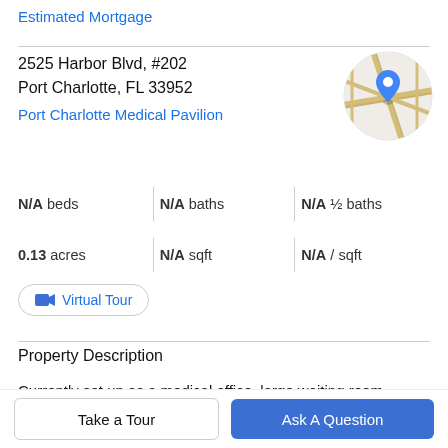Estimated Mortgage
2525 Harbor Blvd, #202
Port Charlotte, FL 33952
Port Charlotte Medical Pavilion
[Figure (map): Circular map thumbnail showing street map with a blue location pin marker]
N/A beds   N/A baths   N/A ½ baths
0.13 acres   N/A sqft   N/A / sqft
Virtual Tour
Property Description
Currently set up as a medical office, large waiting room, nurses station located in the center, surrounded by 3 wet
Take a Tour
Ask A Question
information comes from users and sources to care